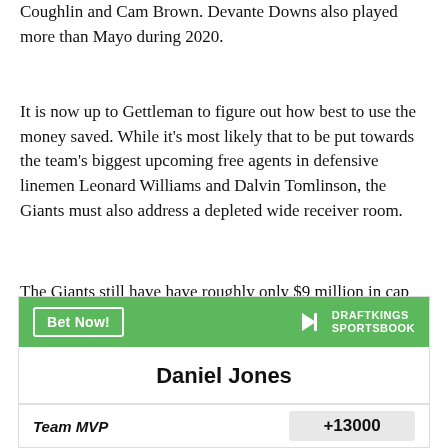Coughlin and Cam Brown. Devante Downs also played more than Mayo during 2020.
It is now up to Gettleman to figure out how best to use the money saved. While it's most likely that to be put towards the team's biggest upcoming free agents in defensive linemen Leonard Williams and Dalvin Tomlinson, the Giants must also address a depleted wide receiver room.
The Giants still have have roughly only $9 million in cap space. Thus, more moves are likely before free agency begins on March 17.
[Figure (other): DraftKings Sportsbook advertisement widget showing a 'Bet Now!' button header in green with DraftKings Sportsbook logo, player name 'Daniel Jones', and a 'Team MVP' betting line with odds +13000 shown in a gray button.]